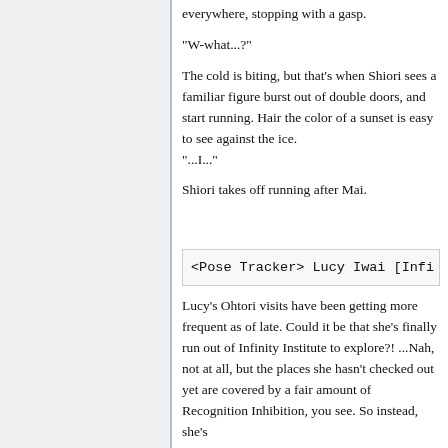everywhere, stopping with a gasp.
"W-what...?"
The cold is biting, but that's when Shiori sees a familiar figure burst out of double doors, and start running. Hair the color of a sunset is easy to see against the ice. "...I..."
Shiori takes off running after Mai.
<Pose Tracker> Lucy Iwai [Infi
Lucy's Ohtori visits have been getting more frequent as of late. Could it be that she's finally run out of Infinity Institute to explore?! ...Nah, not at all, but the places she hasn't checked out yet are covered by a fair amount of Recognition Inhibition, you see. So instead, she's